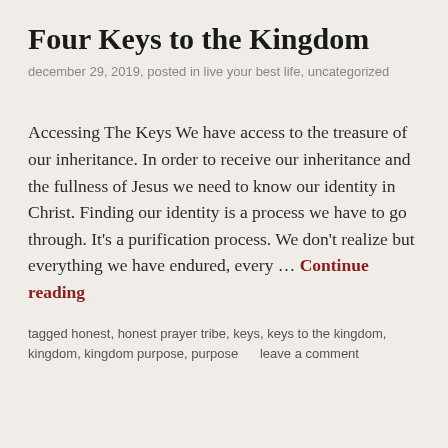Four Keys to the Kingdom
december 29, 2019, posted in live your best life, uncategorized
Accessing The Keys We have access to the treasure of our inheritance. In order to receive our inheritance and the fullness of Jesus we need to know our identity in Christ. Finding our identity is a process we have to go through. It's a purification process. We don't realize but everything we have endured, every … Continue reading
tagged honest, honest prayer tribe, keys, keys to the kingdom, kingdom, kingdom purpose, purpose     leave a comment